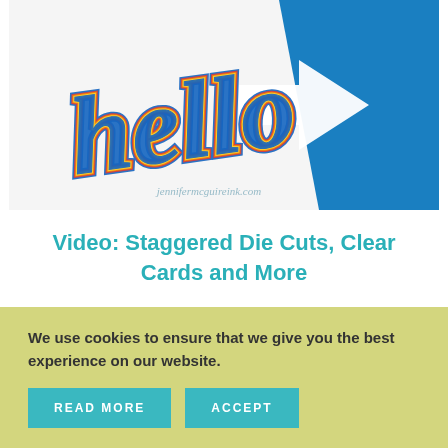[Figure (photo): Photo of rainbow-colored glitter 'hello' die-cut letters on a white background with a blue angular shape, watermarked with jennifermcguireink.com]
Video: Staggered Die Cuts, Clear Cards and More
READ MORE >
We use cookies to ensure that we give you the best experience on our website.
READ MORE
ACCEPT